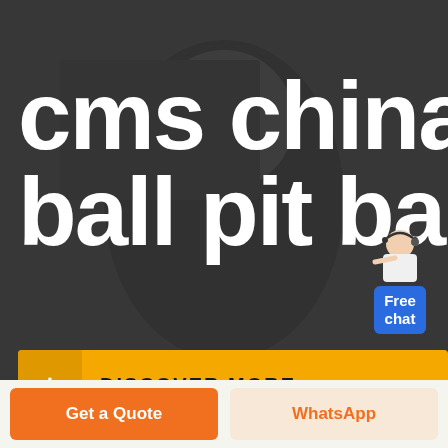[Figure (photo): Dark overlay hero background with blurred person wearing glasses]
cms china ball pit balls
[Figure (illustration): Small customer service representative figure with 'Free chat' blue button widget]
+ DISCOVER MORE
Get a Quote
WhatsApp